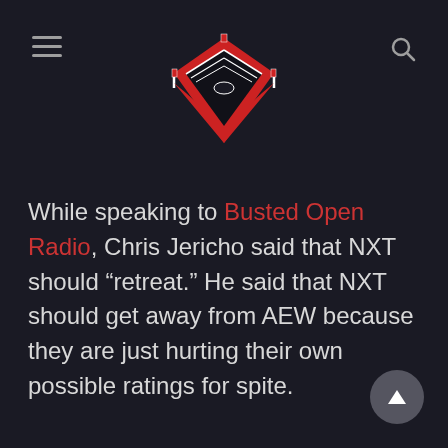[Wrestling news site header with logo, hamburger menu, and search icon]
While speaking to Busted Open Radio, Chris Jericho said that NXT should “retreat.” He said that NXT should get away from AEW because they are just hurting their own possible ratings for spite.